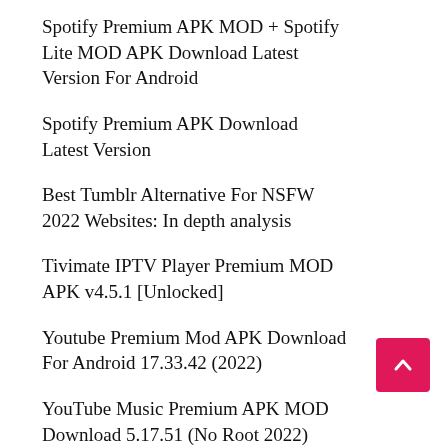Spotify Premium APK MOD + Spotify Lite MOD APK Download Latest Version For Android
Spotify Premium APK Download Latest Version
Best Tumblr Alternative For NSFW 2022 Websites: In depth analysis
Tivimate IPTV Player Premium MOD APK v4.5.1 [Unlocked]
Youtube Premium Mod APK Download For Android 17.33.42 (2022)
YouTube Music Premium APK MOD Download 5.17.51 (No Root 2022)
Best ThenTV Alternatives: Top Apps Like